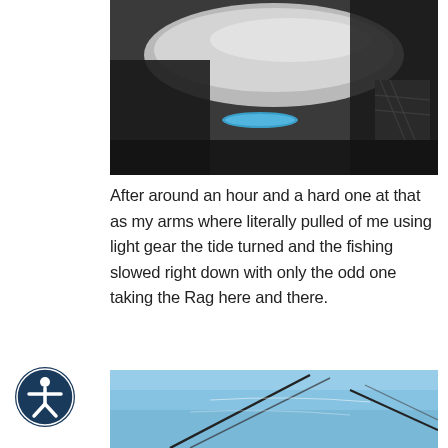[Figure (photo): Close-up photo of a person holding a fish (showing its underside/belly), with a small blue fishing lure visible nearby and a dark wetsuit sleeve visible on the right.]
After around an hour and a hard one at that as my arms where literally pulled of me using light gear the tide turned and the fishing slowed right down with only the odd one taking the Rag here and there.
[Figure (photo): Photo of fishing rods silhouetted against a clear blue sky, with diagonal lines of fishing line or rods visible against the sky and distant horizon.]